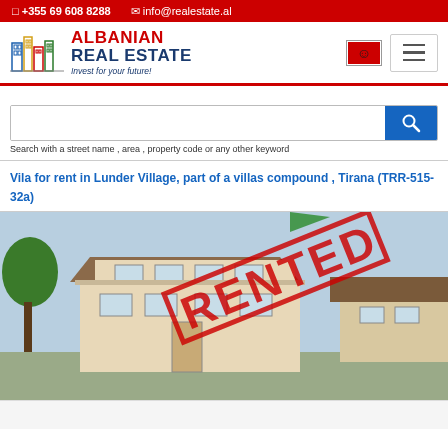☎ +355 69 608 8288  ✉ info@realestate.al
[Figure (logo): Albanian Real Estate logo with colorful building icons and text 'ALBANIAN REAL ESTATE — Invest for your future!']
Search with a street name , area , property code or any other keyword
Vila for rent in Lunder Village, part of a villas compound , Tirana (TRR-515-32a)
[Figure (photo): Exterior photo of a two-story villa in Lunder Village, Tirana, with a 'RENTED' stamp overlaid in red diagonal text.]